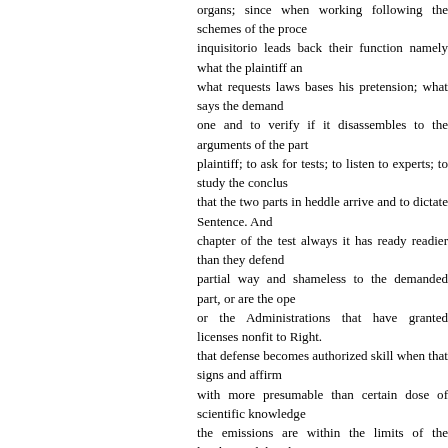organs; since when working following the schemes of the proce inquisitorio leads back their function namely what the plaintiff an what requests laws bases his pretension; what says the demand one and to verify if it disassembles to the arguments of the part plaintiff; to ask for tests; to listen to experts; to study the conclus that the two parts in heddle arrive and to dictate Sentence. And chapter of the test always it has ready readier than they defend partial way and shameless to the demanded part, or are the ope or the Administrations that have granted licenses nonfit to Right. that defense becomes authorized skill when that signs and affirm with more presumable than certain dose of scientific knowledge the emissions are within the limits of the legality and that the stu epidemiologists, doctors or scientists they still are in an embryo state, do it from the púlpito of the officiality: Institute Carlos III, M of Health or, of health Kafkiana way, speaking from a degree of Superior Engineer of Telecommunications. To the Judge it is nec to present/display doctors to him, experts in health, experts in electromagnetism, professional psychiatrists informed and worri about a constant formation, that not always will come to them fr Instructions of the Ministry of Health, but about the resistance ab studies and more international studies... To the judges it is nece to go with the personal medical files of the affected ones and wi doctor who has treated to the patients convinced of the suitabili possible connection cause-effect between the emissions and th sufferings. While that is not possible, by ignorance, ignorance or apathy of many specialists and doctors of temporary family who know first hand the space connection and which the signatory d of the Call of Friburgo subscribe, the Judges will not become ex self-taughts person of all the bases and scientific evidences tha to us. For that reason, we blinded ourselves in defending the wa the handling and fulfillment of the cited and subsequent dispositi